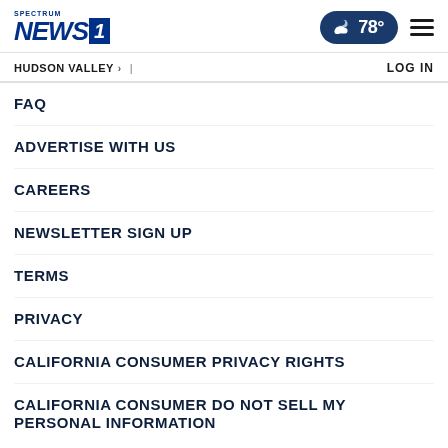Spectrum NEWS1 — HUDSON VALLEY > | — LOG IN — Weather: 78°
FAQ
ADVERTISE WITH US
CAREERS
NEWSLETTER SIGN UP
TERMS
PRIVACY
CALIFORNIA CONSUMER PRIVACY RIGHTS
CALIFORNIA CONSUMER DO NOT SELL MY PERSONAL INFORMATION